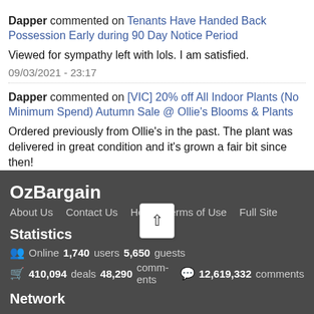Dapper commented on Tenants Have Handed Back Possession Early during 90 Day Notice Period
Viewed for sympathy left with lols. I am satisfied.
09/03/2021 - 23:17
Dapper commented on [VIC] 20% off All Indoor Plants (No Minimum Spend) Autumn Sale @ Ollie's Blooms & Plants
Ordered previously from Ollie's in the past. The plant was delivered in great condition and it's grown a fair bit since then!
02/03/2021 - 17:56
OzBargain About Us Contact Us Help Terms of Use Full Site Statistics Online 1,740 users 5,650 guests 410,094 deals 48,290 comments 12,619,332 comments Network